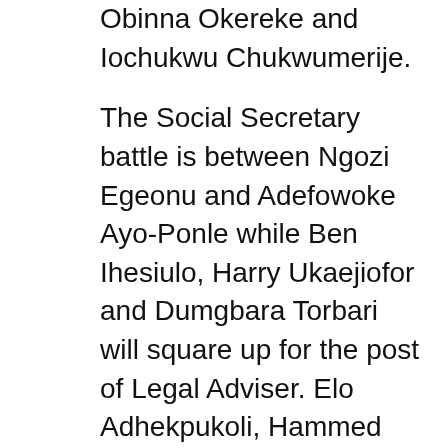Obinna Okereke and Iochukwu Chukwumerije.
The Social Secretary battle is between Ngozi Egeonu and Adefowoke Ayo-Ponle while Ben Ihesiulo, Harry Ukaejiofor and Dumgbara Torbari will square up for the post of Legal Adviser. Elo Adhekpukoli, Hammed Bakare and Ifeoma Ben will slug it out for the post of Assistant Secretary.
Candidates whose nominations were not challenged include Foluke Akinmoladun, Treasurer; Chinenye Oragwu, Financial Secretary; Anthonia Enitan Eke, Welfare Secretary; James Sonde, Publicity Secretary and Florence Chijioke-Duru, Provost